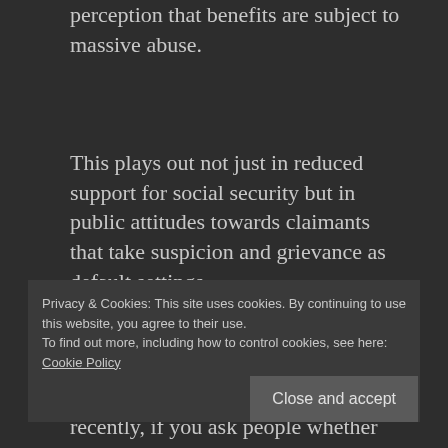perception that benefits are subject to massive abuse.
This plays out not just in reduced support for social security but in public attitudes towards claimants that take suspicion and grievance as default settings.
The coalition's strategy in pushing through its 'reforms' (in fact cuts, as Liam noted) has
Privacy & Cookies: This site uses cookies. By continuing to use this website, you agree to their use.
To find out more, including how to control cookies, see here: Cookie Policy
Close and accept
recently, if you ask people whether 'welfare